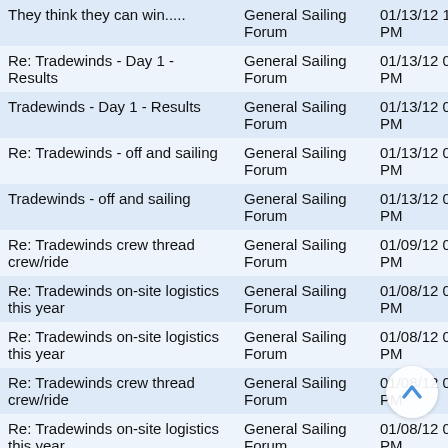| They think they can win..... | General Sailing Forum | 01/13/12 10:13 PM |
| Re: Tradewinds - Day 1 - Results | General Sailing Forum | 01/13/12 09:04 PM |
| Tradewinds - Day 1 - Results | General Sailing Forum | 01/13/12 08:59 PM |
| Re: Tradewinds - off and sailing | General Sailing Forum | 01/13/12 05:31 PM |
| Tradewinds - off and sailing | General Sailing Forum | 01/13/12 05:10 PM |
| Re: Tradewinds crew thread crew/ride | General Sailing Forum | 01/09/12 07:14 PM |
| Re: Tradewinds on-site logistics this year | General Sailing Forum | 01/08/12 08:04 PM |
| Re: Tradewinds on-site logistics this year | General Sailing Forum | 01/08/12 07:09 PM |
| Re: Tradewinds crew thread crew/ride | General Sailing Forum | 01/08/12 06:48 PM |
| Re: Tradewinds on-site logistics this year | General Sailing Forum | 01/08/12 06:46 PM |